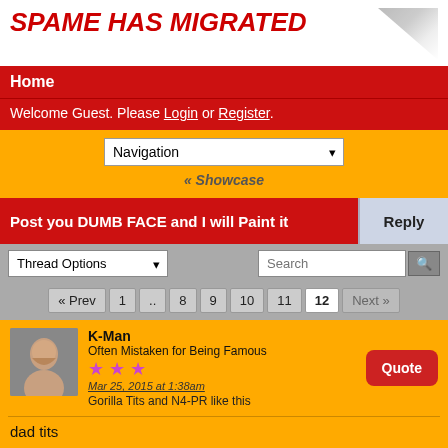SPAME HAS MIGRATED
Home
Welcome Guest. Please Login or Register.
Navigation
« Showcase
Post you DUMB FACE and I will Paint it
Thread Options
« Prev
1
..
8
9
10
11
12
Next »
K-Man
Often Mistaken for Being Famous
★★★
Mar 25, 2015 at 1:38am
Gorilla Tits and N4-PR like this
dad tits
K-Man
Often Mistaken for Being Famous
★★★